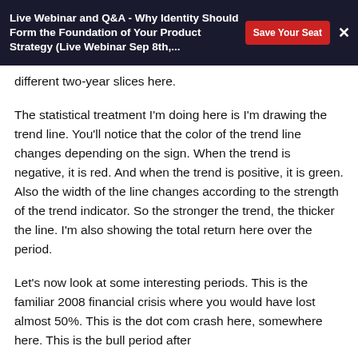Live Webinar and Q&A - Why Identity Should Form the Foundation of Your Product Strategy (Live Webinar Sep 8th,... | Save Your Seat | ×
different two-year slices here.
The statistical treatment I'm doing here is I'm drawing the trend line. You'll notice that the color of the trend line changes depending on the sign. When the trend is negative, it is red. And when the trend is positive, it is green. Also the width of the line changes according to the strength of the trend indicator. So the stronger the trend, the thicker the line. I'm also showing the total return here over the period.
Let's now look at some interesting periods. This is the familiar 2008 financial crisis where you would have lost almost 50%. This is the dot com crash here, somewhere here. This is the bull period after